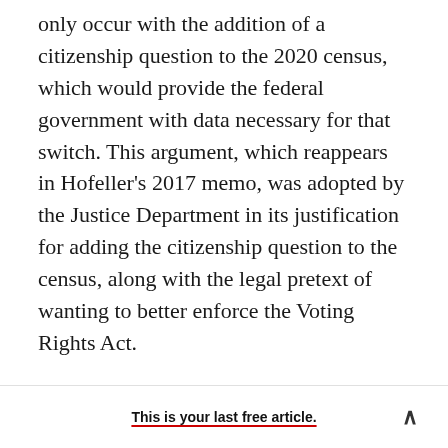only occur with the addition of a citizenship question to the 2020 census, which would provide the federal government with data necessary for that switch. This argument, which reappears in Hofeller's 2017 memo, was adopted by the Justice Department in its justification for adding the citizenship question to the census, along with the legal pretext of wanting to better enforce the Voting Rights Act.

In other words, long before Trump was even elected, Republican Party insiders were plotting to increase white political power at the expense of
This is your last free article.